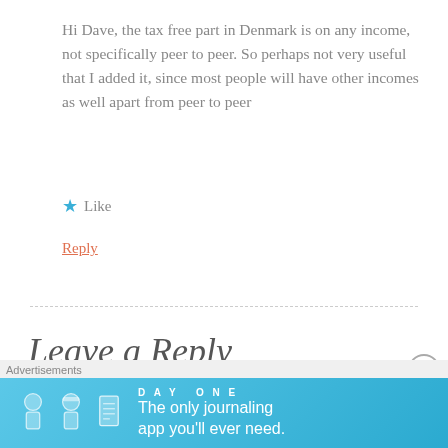Hi Dave, the tax free part in Denmark is on any income, not specifically peer to peer. So perhaps not very useful that I added it, since most people will have other incomes as well apart from peer to peer
★ Like
Reply
Leave a Reply
Your email address will not be published. Required fields
[Figure (other): Advertisement banner for Day One journaling app with blue background and app icons]
Advertisements